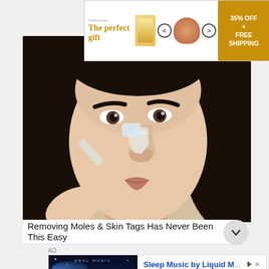[Figure (photo): Advertisement banner: 'The perfect gift' with gift box and bowl images, navigation arrows, and '35% OFF + FREE SHIPPING' call to action on gold background]
[Figure (screenshot): Video thumbnail showing a woman applying white product to her nose with a brush/tool, dark hair, close-up facial shot]
Removing Moles & Skin Tags Has Never Been This Easy
AD
[Figure (screenshot): Bottom advertisement: Sleep Music by Liquid Mind app ad, showing dark blue ocean/space background with 'RELAX' text on left, and 'Sleep Music Free MP3s' with Open button on right]